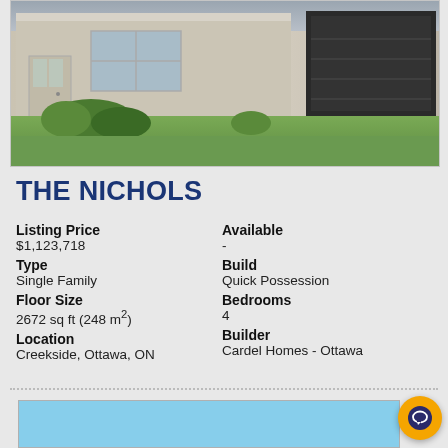[Figure (photo): Exterior photo of The Nichols single-family home, showing brick facade with large dark garage door, front entry door, windows, and landscaped front yard with shrubs and lawn.]
THE NICHOLS
Listing Price
$1,123,718
Type
Single Family
Floor Size
2672 sq ft (248 m²)
Location
Creekside, Ottawa, ON
Available
-
Build
Quick Possession
Bedrooms
4
Builder
Cardel Homes - Ottawa
[Figure (screenshot): Partial view of a floor plan or map shown at the bottom of the page, partially cropped.]